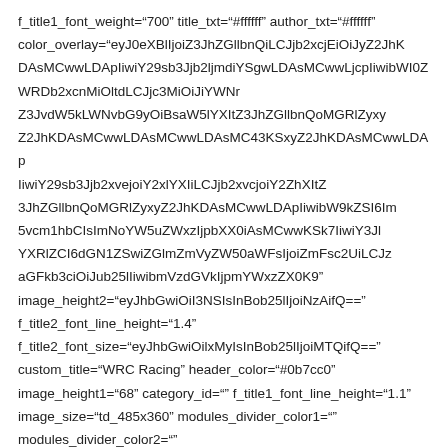f_title1_font_weight="700" title_txt="#ffffff" author_txt="#ffffff" color_overlay="eyJ0eXBlIjoiZ3JhZGllbnQiLCJjb2xcjEiOiJyZ2JhKDAsMCwwLDApIiwiY29sb3Jjb2ljmdiYSgwLDAsMCwwLjcpIiwibWI4ZWRDb2xcnMiOltdLCJjc3MiOiJiYWNrZ3JvdW5kLWNvbG9yOiBsaW5lYXItZ3JhZGllbnQoMCwwLDAsMWRhKTsiVia2I0L
WxpbmVhci1ncmFkaWVudCgwLDAsMWRhKTsiVudCgwZGVnLHJnYmEoMCwwLDAsMCwwLDAsMC4
3KSxyZ2JhKDAsMCwwLDApIiwiY29sb3Jjb2ljmdiYSgwLDAsMCwwLjcpIiwibWI4
3KSxyZ2JhKDAsMCwwLDApIiwiY29sb3Jjb2xvcjoiY2xlYXIiLCJjb2xvcjoiY2ZhXItZ
3JhZGllbnQoMGRlZyxyZ2JhKDAsMCwwLDApIiwibW9kZSI6Im5vcm1hbCIsImNoYW5uZWxzIjpbXX0i
AsMCwwKSk7IiwiY3JlYXRlZCI6dGN1ZSwiZGlmZmVyZW50aWFsIjoiZmFsc2UiLCJzaGFkb3ciOiJub25lIiwibmVzdGVkIjpmYWxzZX0K
AsMCwwKSk7IiwiY3JlYXRlZCI6dHJ1ZSwibWFza2luZyI6dHJ1ZX0K
LDAuNykscmdiYSgwLDAsMCwwKSl9
LDAuNykscmdiYSgwLDAsMCwwKSl9
LDAuNykscmdiYSgwLDAsMCwwKSl9
LDAuNykscmdiYSgwLDAsMCwwKSl9
LDAuNykscmdiYSgwLDAsMCwwKSl9
LDAuNykscmdiYSgwLDAsMCwwKSl9
LDAuNykscmdiYSgwLDAsMCwwKSl9
LDAuNykscmdiYSgwLDAsMCwwKSl9
image_height2="eyJhbGwiOiI3NSIsInBob25lIjoiNzAifQ==" f_title2_font_line_height="1.4" f_title2_font_size="eyJhbGwiOilxMyIsInBob25lIjoiMTQifQ==" custom_title="WRC Racing" header_color="#0b7cc0" image_height1="68" category_id="" f_title1_font_line_height="1.1" image_size="td_485x360" modules_divider_color1="" modules_divider_color2="" modules_space2="eyJhbGwiOilyMSIsInBvcnRyYWl0IjoiMjAiLCJwaG9uZSI6IjMwaG9nZSI6IjMwaG9cG...